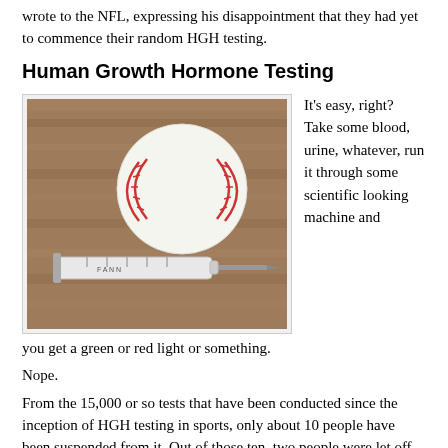wrote to the NFL, expressing his disappointment that they had yet to commence their random HGH testing.
Human Growth Hormone Testing
[Figure (photo): A baseball and a syringe placed on a wooden surface]
It's easy, right? Take some blood, urine, whatever, run it through some scientific looking machine and you get a green or red light or something.
Nope.
From the 15,000 or so tests that have been conducted since the inception of HGH testing in sports, only about 10 people have been suspended from it. Out of those ten, two people were let off the charge because they appealed the science. Ergo, the science is fallible by a massive 20%.